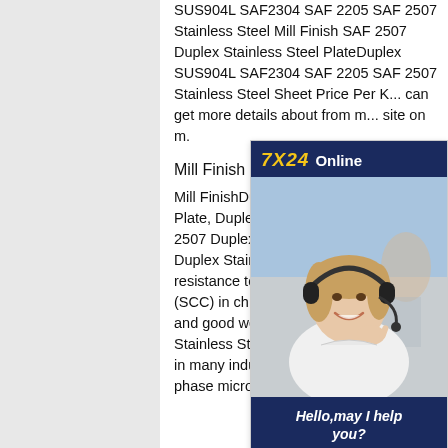SUS904L SAF2304 SAF 2205 SAF 2507 Stainless Steel Mill Finish SAF 2507 Duplex Stainless Steel PlateDuplex SUS904L SAF2304 SAF 2205 SAF 2507 Stainless Steel Sheet Price Per K... can get more details about from m... site on m.
Mill Finish
Mill FinishDuplex Plate, UNS S31... Plate, Duplex Steel 2205 Sheet M... SAF 2507 Duplex Stainless Steel... Plate2205 Duplex Stainless Steel... has high resistance to stress corrosion cracking (SCC) in chloride-bearing environments and good weldability. 2205 Duplex Stainless Steel Sheet became favourite in many industries as they have a two-phase microstructure that consists
[Figure (other): Customer service advertisement overlay showing '7X24 Online' header in dark blue with yellow text, photo of a woman with headset smiling, and a 'Get Latest Price' button. Tagline reads 'Hello,may I help you?']